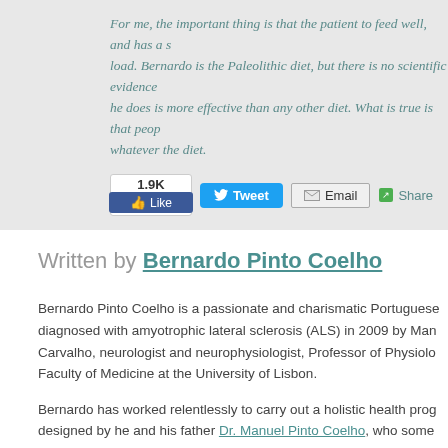For me, the important thing is that the patient to feed well, and has a s... load. Bernardo is the Paleolithic diet, but there is no scientific evidence... he does is more effective than any other diet. What is true is that peop... whatever the diet.
[Figure (screenshot): Social sharing buttons: Facebook Like (1.9K), Tweet, Email, Share]
Written by Bernardo Pinto Coelho
Bernardo Pinto Coelho is a passionate and charismatic Portuguese... diagnosed with amyotrophic lateral sclerosis (ALS) in 2009 by Man... Carvalho, neurologist and neurophysiologist, Professor of Physiolo... Faculty of Medicine at the University of Lisbon.
Bernardo has worked relentlessly to carry out a holistic health prog... designed by he and his father Dr. Manuel Pinto Coelho, who some... researched until exhaustion to help design the program for his son... shining example of someone who takes complete responsibility for...